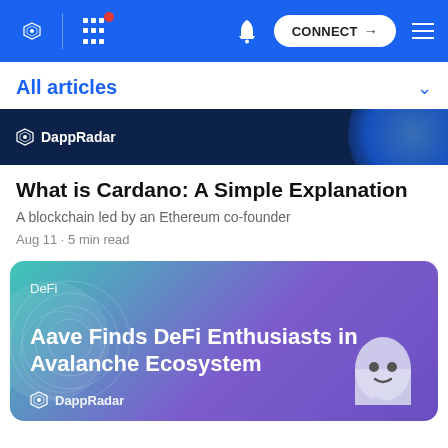DappRadar navigation bar with CONNECT button
All articles
[Figure (screenshot): DappRadar dark navy banner with logo]
What is Cardano: A Simple Explanation
A blockchain led by an Ethereum co-founder
Aug 11 · 5 min read
[Figure (illustration): DeFi article card with gradient teal-to-purple background reading: DeFi — Aave Finds DeFi Enthusiasts in Avalanche Ecosystem, with DappRadar logo and ghost mascot]